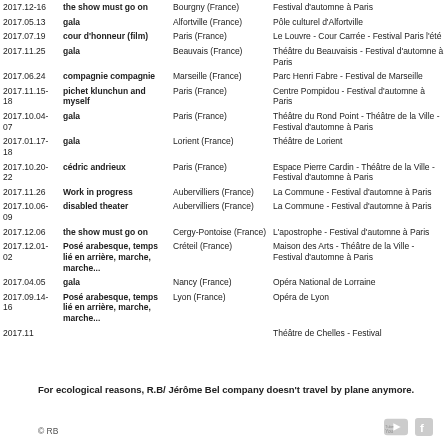| Date | Show | City | Venue |
| --- | --- | --- | --- |
| 2017.12-16 | the show must go on | Bourgny (France) | Festival d'automne à Paris |
| 2017.05.13 | gala | Alfortville (France) | Pôle culturel d'Alfortville |
| 2017.07.19 | cour d'honneur (film) | Paris (France) | Le Louvre - Cour Carrée - Festival Paris l'été |
| 2017.11.25 | gala | Beauvais (France) | Théâtre du Beauvaisis - Festival d'automne à Paris |
| 2017.06.24 | compagnie compagnie | Marseille (France) | Parc Henri Fabre - Festival de Marseille |
| 2017.11.15-18 | pichet klunchun and myself | Paris (France) | Centre Pompidou - Festival d'automne à Paris |
| 2017.10.04-07 | gala | Paris (France) | Théâtre du Rond Point - Théâtre de la Ville - Festival d'automne à Paris |
| 2017.01.17-18 | gala | Lorient (France) | Théâtre de Lorient |
| 2017.10.20-22 | cédric andrieux | Paris (France) | Espace Pierre Cardin - Théâtre de la Ville - Festival d'automne à Paris |
| 2017.11.26 | Work in progress | Aubervilliers (France) | La Commune - Festival d'automne à Paris |
| 2017.10.06-09 | disabled theater | Aubervilliers (France) | La Commune - Festival d'automne à Paris |
| 2017.12.06 | the show must go on | Cergy-Pontoise (France) | L'apostrophe - Festival d'automne à Paris |
| 2017.12.01-02 | Posé arabesque, temps lié en arrière, marche, marche... | Créteil (France) | Maison des Arts - Théâtre de la Ville - Festival d'automne à Paris |
| 2017.04.05 | gala | Nancy (France) | Opéra National de Lorraine |
| 2017.09.14-16 | Posé arabesque, temps lié en arrière, marche, marche... | Lyon (France) | Opéra de Lyon |
| 2017.11 |  |  | Théâtre de Chelles - Festival |
For ecological reasons, R.B/ Jérôme Bel company doesn't travel by plane anymore.
© RB